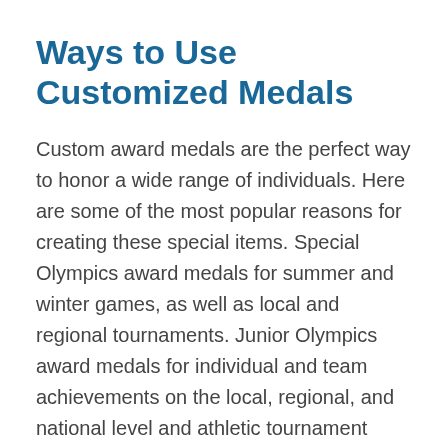Ways to Use Customized Medals
Custom award medals are the perfect way to honor a wide range of individuals. Here are some of the most popular reasons for creating these special items. Special Olympics award medals for summer and winter games, as well as local and regional tournaments. Junior Olympics award medals for individual and team achievements on the local, regional, and national level and athletic tournament incentives. From wrestling to amateur and professional boxing to basketball, award medals that can be customized for every sport and every tournament imaginable. Sports leaders and team